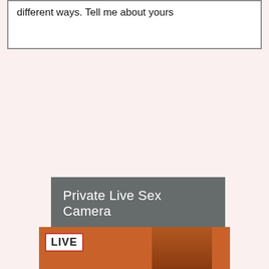different ways. Tell me about yours
Private Live Sex Camera
[Figure (photo): A live video feed thumbnail showing a person with a LIVE badge overlay in the top left corner, orange/red background]